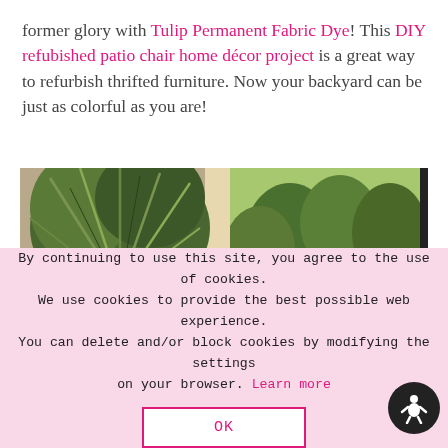former glory with Tulip Permanent Fabric Dye! This DIY refubished patio chair home décor project is a great way to refurbish thrifted furniture. Now your backyard can be just as colorful as you are!
[Figure (photo): Two-panel photo showing a spiky tropical houseplant on the left and a view of green trees/garden through a window on the right, both framed by a cream-colored window frame.]
By continuing to use this site, you agree to the use of cookies. We use cookies to provide the best possible web experience. You can delete and/or block cookies by modifying the settings on your browser. Learn more